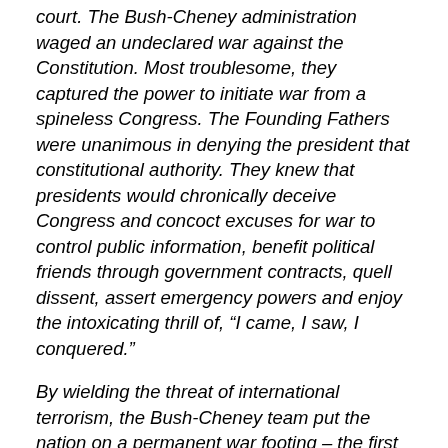court. The Bush-Cheney administration waged an undeclared war against the Constitution. Most troublesome, they captured the power to initiate war from a spineless Congress. The Founding Fathers were unanimous in denying the president that constitutional authority. They knew that presidents would chronically deceive Congress and concoct excuses for war to control public information, benefit political friends through government contracts, quell dissent, assert emergency powers and enjoy the intoxicating thrill of, “I came, I saw, I conquered.”
By wielding the threat of international terrorism, the Bush-Cheney team put the nation on a permanent war footing – the first time in history that war has been undertaken against a tactic. They maintained that the entire post-9/11 world is an active battlefield where United States military force may be used to kill suspected members of al Qaeda